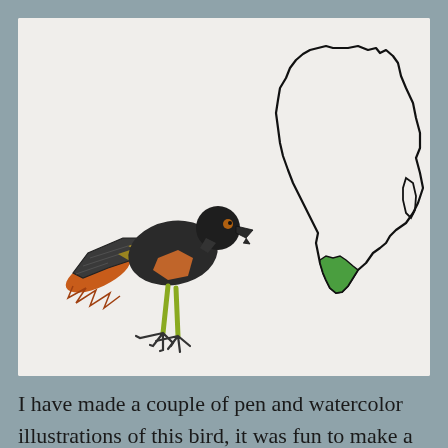[Figure (illustration): A watercolor and pen illustration of a Jackal Buzzard (Buteo rufofuscus). The bird is depicted in profile facing right, with dark grey-black plumage, rusty-orange tail feathers, yellowish-green feet with talons, and orange-brown patches on the breast. Above and to the right is an outline map of Africa with the southern tip (South Africa) highlighted in green, indicating the bird's range. The background is off-white/cream textured paper.]
I have made a couple of pen and watercolor illustrations of this bird, it was fun to make a life size panel painting. Thanks a bunch for looking at birds with